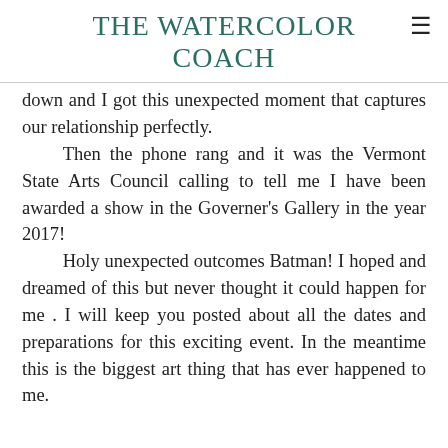THE WATERCOLOR COACH
down and I got this unexpected moment that captures our relationship perfectly.
	Then the phone rang and it was the Vermont State Arts Council calling to tell me I have been awarded a show in the Governer's Gallery in the year 2017!
	Holy unexpected outcomes Batman! I hoped and dreamed of this but never thought it could happen for me . I will keep you posted about all the dates and preparations for this exciting event. In the meantime this is the biggest art thing that has ever happened to me.